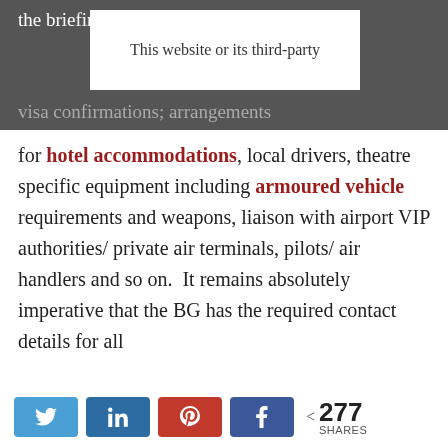the briefing of any support staff.
This website or its third-party
visa confirmations; arrangements for hotel accommodations, local drivers, theatre specific equipment including armoured vehicle requirements and weapons, liaison with airport VIP authorities/ private air terminals, pilots/ air handlers and so on.  It remains absolutely imperative that the BG has the required contact details for all
[Figure (infographic): Social share buttons: Twitter, LinkedIn, Pinterest, Facebook, and share count showing 277 SHARES]